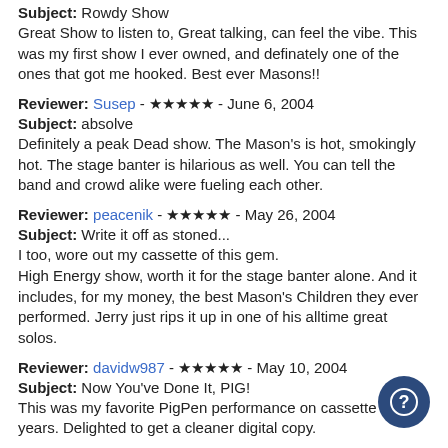Subject: Rowdy Show
Great Show to listen to, Great talking, can feel the vibe. This was my first show I ever owned, and definately one of the ones that got me hooked. Best ever Masons!!
Reviewer: Susep - ★★★★★ - June 6, 2004
Subject: absolve
Definitely a peak Dead show. The Mason's is hot, smokingly hot. The stage banter is hilarious as well. You can tell the band and crowd alike were fueling each other.
Reviewer: peacenik - ★★★★★ - May 26, 2004
Subject: Write it off as stoned...
I too, wore out my cassette of this gem.
High Energy show, worth it for the stage banter alone. And it includes, for my money, the best Mason's Children they ever performed. Jerry just rips it up in one of his alltime great solos.
Reviewer: davidw987 - ★★★★★ - May 10, 2004
Subject: Now You've Done It, PIG!
This was my favorite PigPen performance on cassette for years. Delighted to get a cleaner digital copy.